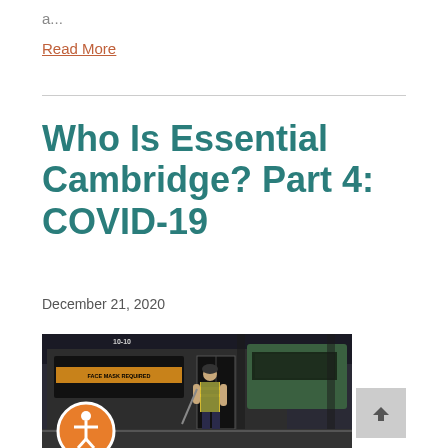a...
Read More
Who Is Essential Cambridge? Part 4: COVID-19
December 21, 2020
[Figure (photo): A worker in a yellow safety vest cleaning or maintaining a bus at a transit depot, with other buses visible in the background.]